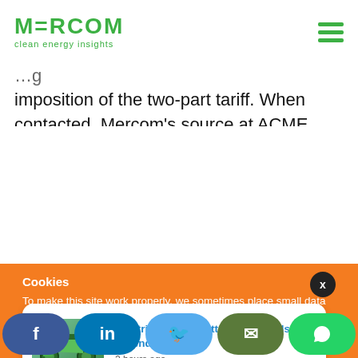MERCOM clean energy insights
imposition of the two-part tariff. When contacted, Mercom's source at ACME chose not to comment on the situation as the case is under consideration by the judiciary.

On its part, the Delhi High Court has accepted the petition and fixed, January 30, 2019, as the next
Cookies
To make this site work properly, we sometimes place small data files called cookies on your device. Most big websites do this too.
Electric Vehicle Battery Standards Amended for
2 hours ago